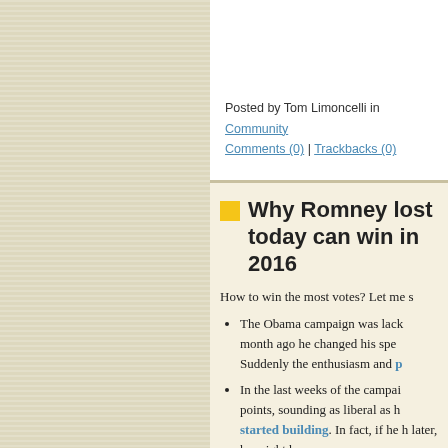Posted by Tom Limoncelli in Community | Comments (0) | Trackbacks (0)
Why Romney lost today can win in 2016
How to win the most votes? Let me s
The Obama campaign was lack month ago he changed his spe Suddenly the enthusiasm and p
In the last weeks of the campai points, sounding as liberal as h started building. In fact, if he h later, he might have won.
Both of these data points indicate tha the left". This is because when poll aligned with progressive principle nation persists. I think that's becaus